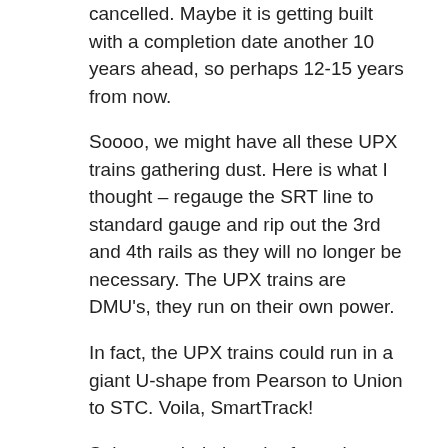cancelled. Maybe it is getting built with a completion date another 10 years ahead, so perhaps 12-15 years from now.
Soooo, we might have all these UPX trains gathering dust. Here is what I thought – regauge the SRT line to standard gauge and rip out the 3rd and 4th rails as they will no longer be necessary. The UPX trains are DMU's, they run on their own power.
In fact, the UPX trains could run in a giant U-shape from Pearson to Union to STC. Voila, SmartTrack!
Solves a whole bunch of transit problems, yes?
Steve: There a more than a few problems with